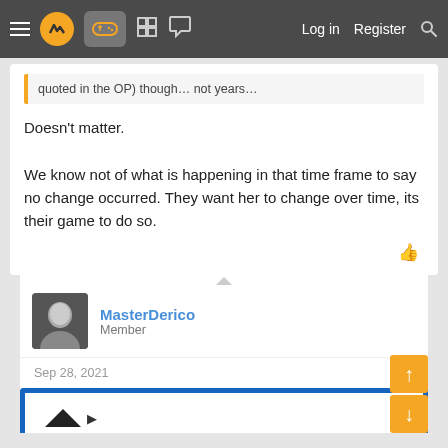Navigation bar with menu, logo, gamepad icon, grid icon, chat icon, Log in, Register, Search
quoted in the OP) though… not years…
Doesn't matter.

We know not of what is happening in that time frame to say no change occurred. They want her to change over time, its their game to do so.
PharaoTutAnchAmun and Bo_Hazem
MasterDerico
Member
Sep 28, 2021